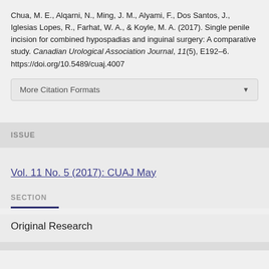Chua, M. E., Alqarni, N., Ming, J. M., Alyami, F., Dos Santos, J., Iglesias Lopes, R., Farhat, W. A., & Koyle, M. A. (2017). Single penile incision for combined hypospadias and inguinal surgery: A comparative study. Canadian Urological Association Journal, 11(5), E192–6. https://doi.org/10.5489/cuaj.4007
More Citation Formats
ISSUE
Vol. 11 No. 5 (2017): CUAJ May
SECTION
Original Research